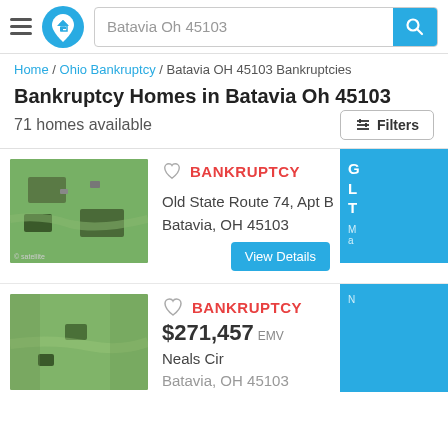Batavia Oh 45103
Home / Ohio Bankruptcy / Batavia OH 45103 Bankruptcies
Bankruptcy Homes in Batavia Oh 45103
71 homes available
[Figure (photo): Aerial satellite view of Old State Route 74 property in Batavia, OH]
BANKRUPTCY
Old State Route 74, Apt B
Batavia, OH 45103
[Figure (photo): Aerial satellite view of Neals Cir property in Batavia, OH]
BANKRUPTCY
$271,457 EMV
Neals Cir
Batavia, OH 45103